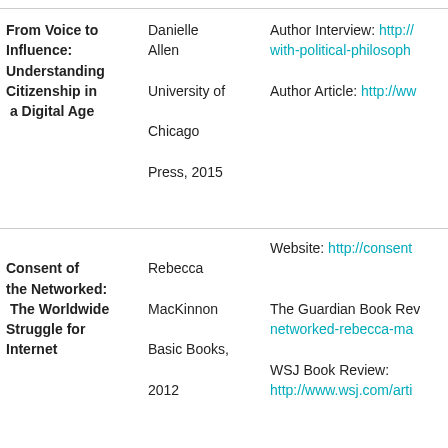| Title | Author | Links |
| --- | --- | --- |
| From Voice to Influence: Understanding Citizenship in a Digital Age | Danielle Allen
University of Chicago Press, 2015 | Author Interview: http://...
with-political-philosoph...
Author Article: http://ww... |
| Consent of the Networked: The Worldwide Struggle for Internet | Rebecca MacKinnon
Basic Books, 2012 | Website: http://consent...
The Guardian Book Rev...
networked-rebecca-ma...
WSJ Book Review:
http://www.wsj.com/arti... |